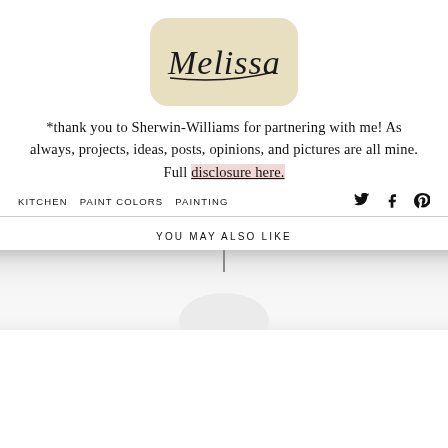[Figure (logo): Handwritten signature 'Melissa' with a smiley face umlaut on a rounded rectangle with tan/beige background]
*thank you to Sherwin-Williams for partnering with me! As always, projects, ideas, posts, opinions, and pictures are all mine. Full disclosure here.
KITCHEN   PAINT COLORS   PAINTING
YOU MAY ALSO LIKE
[Figure (photo): Partial photo preview showing a white or light grey surface with a thin vertical line in the center and a rounded white object at the bottom, cropped at the page edge]